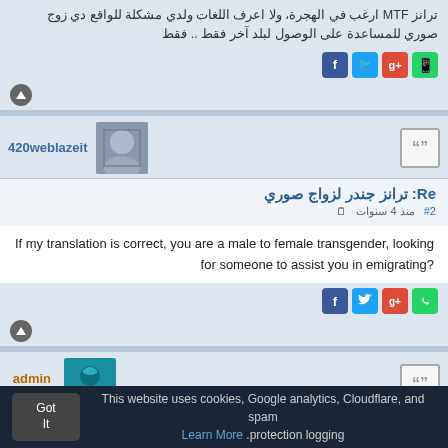ترانز MTF ارغب في الهجرة، ولا اعرف اللغات ولدي مشكلة للواقع دي زوج صوري للمساعدة على الوصول لبلد آخر فقط .. فقط
[Figure (screenshot): Social share icons: Facebook, Twitter, Google+, WhatsApp]
420weblazeit - user profile with avatar photo
Re: ترانز جندر لزواج صوري
#2 منذ 4 سنوات
If my translation is correct, you are a male to female transgender, looking for someone to assist you in emigrating?
[Figure (screenshot): Social share icons: Facebook, Twitter, Google+, WhatsApp]
admin - Site Admin with avatar
Re: ترانز جندر لزواج صوري
#3 منذ 4 سنوات
This website uses cookies, Google analytics, Cloudflare, and spam protection logging. Learn More